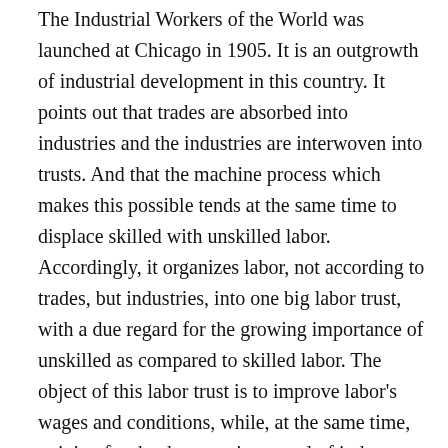The Industrial Workers of the World was launched at Chicago in 1905. It is an outgrowth of industrial development in this country. It points out that trades are absorbed into industries and the industries are interwoven into trusts. And that the machine process which makes this possible tends at the same time to displace skilled with unskilled labor. Accordingly, it organizes labor, not according to trades, but industries, into one big labor trust, with a due regard for the growing importance of unskilled as compared to skilled labor. The object of this labor trust is to improve labor's wages and conditions, while, at the same time, striving for the democratic control of industry by labor and for labor, instead of private capitalists, as at present. The philosophy and objects of the I. W. W. are expressed as follows: